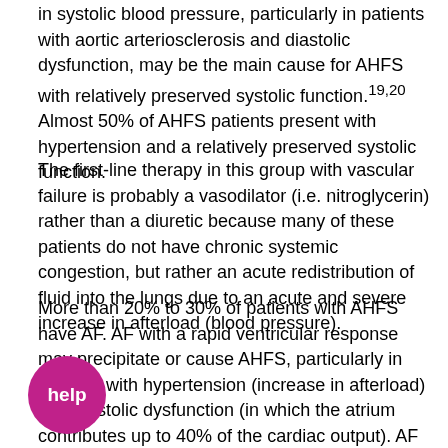in systolic blood pressure, particularly in patients with aortic arteriosclerosis and diastolic dysfunction, may be the main cause for AHFS with relatively preserved systolic function.19,20 Almost 50% of AHFS patients present with hypertension and a relatively preserved systolic function.
The first-line therapy in this group with vascular failure is probably a vasodilator (i.e. nitroglycerin) rather than a diuretic because many of these patients do not have chronic systemic congestion, but rather an acute redistribution of fluid into the lungs due to an acute and severe increase in afterload (blood pressure).
More than 20% to 30% of patients with AHFS have AF. AF with a rapid ventricular response may precipitate or cause AHFS, particularly in patients with hypertension (increase in afterload) and diastolic dysfunction (in which the atrium contributes up to 40% of the cardiac output). AF may be particularly deleterious in patients with diastolic dysfunction b  diastolic time that decreases during rapid v  ar response, with further reduction in diastolic fu  n, may precipitate AHFS. Over 40% of patients who present with AHFS have type 2 diabetes. In addition to the
[Figure (other): A circular pink/magenta help button with white bold text 'help' in the center, overlaid on the bottom-left of the text.]